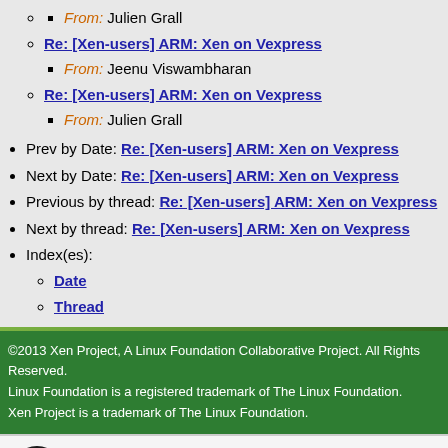From: Julien Grall
Re: [Xen-users] ARM: Xen on Vexpress
From: Jeenu Viswambharan
Re: [Xen-users] ARM: Xen on Vexpress
From: Julien Grall
Prev by Date: Re: [Xen-users] ARM: Xen on Vexpress
Next by Date: Re: [Xen-users] ARM: Xen on Vexpress
Previous by thread: Re: [Xen-users] ARM: Xen on Vexpress
Next by thread: Re: [Xen-users] ARM: Xen on Vexpress
Index(es):
Date
Thread
©2013 Xen Project, A Linux Foundation Collaborative Project. All Rights Reserved. Linux Foundation is a registered trademark of The Linux Foundation. Xen Project is a trademark of The Linux Foundation.
Lists.xenproject.org is hosted with RackSpace, monitoring our servers 24x7x365 and backed by RackSpace's Fanatical Support®.